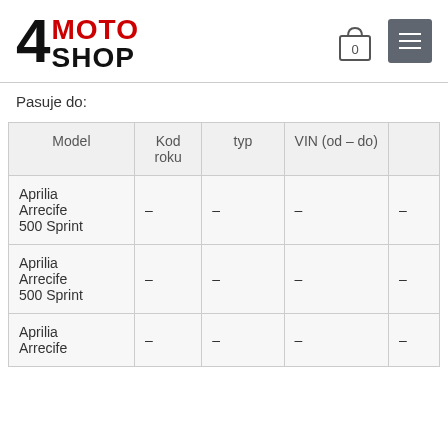[Figure (logo): 4 MOTO SHOP logo with large black 4, red MOTO text and black SHOP text]
Pasuje do:
| Model | Kod roku | typ | VIN (od – do) |  |
| --- | --- | --- | --- | --- |
| Aprilia Arrecife 500 Sprint | – | – | – | – |
| Aprilia Arrecife 500 Sprint | – | – | – | – |
| Aprilia Arrecife | – | – | – | – |